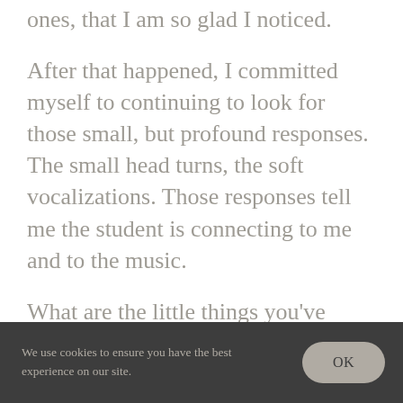ones, that I am so glad I noticed.
After that happened, I committed myself to continuing to look for those small, but profound responses. The small head turns, the soft vocalizations. Those responses tell me the student is connecting to me and to the music.
What are the little things you've
We use cookies to ensure you have the best experience on our site.